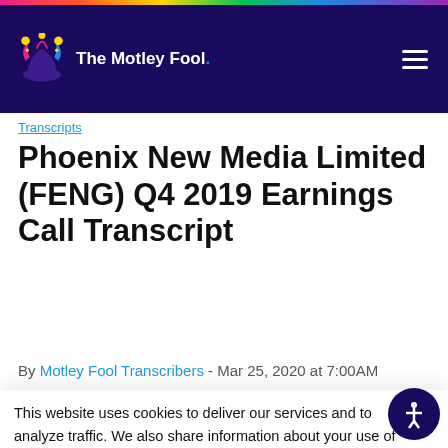The Motley Fool
Transcripts
Phoenix New Media Limited (FENG) Q4 2019 Earnings Call Transcript
By Motley Fool Transcribers - Mar 25, 2020 at 7:00AM
This website uses cookies to deliver our services and to analyze traffic. We also share information about your use of our site with advertising and other partners. Privacy Policy
Got it
Cookie Settings